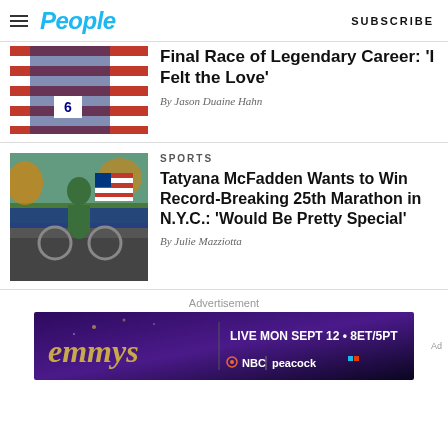People — SUBSCRIBE
[Figure (photo): Athlete wrapped in American flag, race number 6, cropped partial view]
Final Race of Legendary Career: 'I Felt the Love'
By Jason Duaine Hahn
SPORTS
[Figure (photo): Tatyana McFadden, wheelchair racer, competing with American flag in background]
Tatyana McFadden Wants to Win Record-Breaking 25th Marathon in N.Y.C.: 'Would Be Pretty Special'
By Julie Mazziotta
Advertisement
[Figure (other): Emmy Awards advertisement banner: LIVE MON SEPT 12 • 8ET/5PT NBC | peacock]